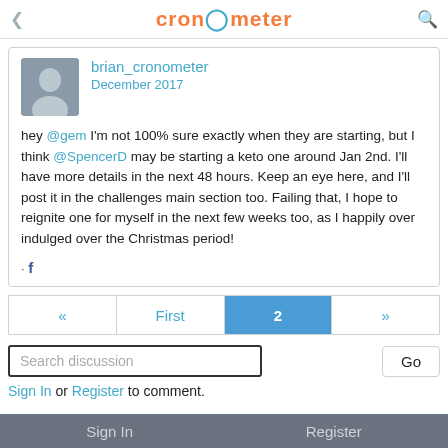cronometer
brian_cronometer
December 2017
hey @gem I'm not 100% sure exactly when they are starting, but I think @SpencerD may be starting a keto one around Jan 2nd. I'll have more details in the next 48 hours. Keep an eye here, and I'll post it in the challenges main section too. Failing that, I hope to reignite one for myself in the next few weeks too, as I happily over indulged over the Christmas period!
« First 2 »
Search discussion
Go
Sign In or Register to comment.
Sign In    Register